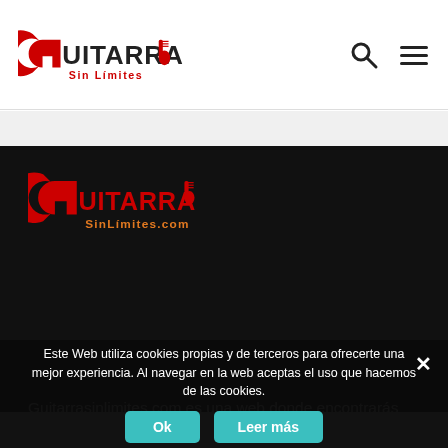Guitarra Sin Limites - logo and navigation
[Figure (logo): Guitarra Sin Limites logo in header with guitar icon and red/dark text]
[Figure (logo): Guitarra Sin Limites logo in dark section footer area]
Guitarrasinlimites.com es una web donde encontrarás consejos para aprender a tocar la guitarra y perfeccionar tu técnica.
Este Web utiliza cookies propias y de terceros para ofrecerte una mejor experiencia. Al navegar en la web aceptas el uso que hacemos de las cookies.